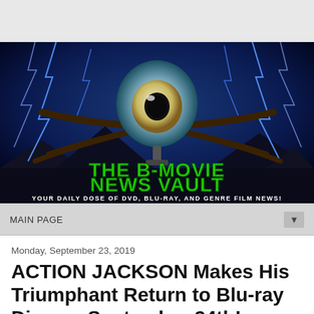[Figure (logo): The B-Movie News Vault banner — dark blue/black background with lightning bolts, a giant eyeball creature with tentacles, green stylized text 'THE B-MOVIE NEWS VAULT' and white text 'YOUR DAILY DOSE OF DVD, BLU-RAY, AND GENRE FILM NEWS!']
MAIN PAGE
Monday, September 23, 2019
ACTION JACKSON Makes His Triumphant Return to Blu-ray Disc on September 24th!